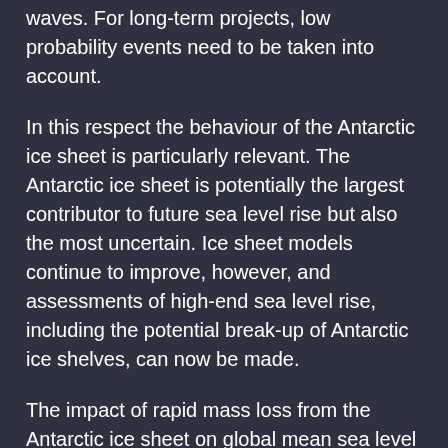waves. For long-term projects, low probability events need to be taken into account.
In this respect the behaviour of the Antarctic ice sheet is particularly relevant. The Antarctic ice sheet is potentially the largest contributor to future sea level rise but also the most uncertain. Ice sheet models continue to improve, however, and assessments of high-end sea level rise, including the potential break-up of Antarctic ice shelves, can now be made.
The impact of rapid mass loss from the Antarctic ice sheet on global mean sea level rise under a high-end scenario of global warming has been explored. The study is based on the latest IPCC report, takes the same processes into account but includes the results of a recent study on the impact of Antarctic ice mass loss. The projected high-end sea level rise is a lot higher and more uncertain than the ones considered by the IPCC. This is mostly because the